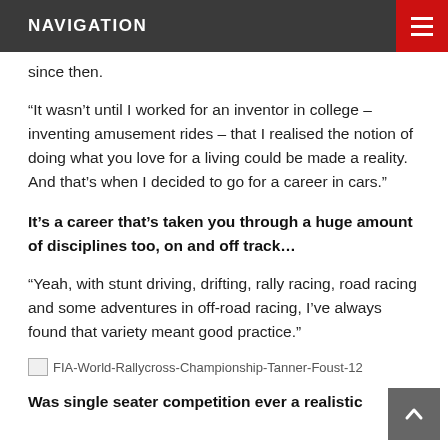NAVIGATION
since then.
“It wasn’t until I worked for an inventor in college – inventing amusement rides – that I realised the notion of doing what you love for a living could be made a reality. And that’s when I decided to go for a career in cars.”
It’s a career that’s taken you through a huge amount of disciplines too, on and off track…
“Yeah, with stunt driving, drifting, rally racing, road racing and some adventures in off-road racing, I’ve always found that variety meant good practice.”
[Figure (photo): FIA World Rallycross Championship Tanner Foust image]
Was single seater competition ever a realistic possibility…?